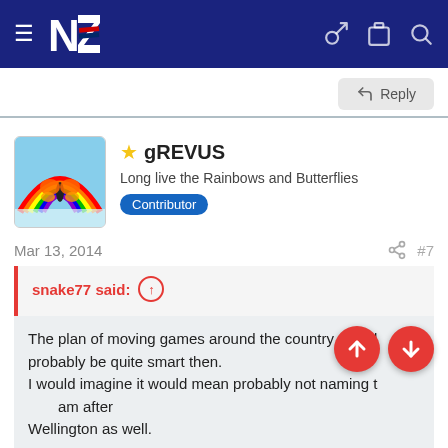NZ Warriors forum navigation header
Reply
[Figure (screenshot): User avatar: colorful rainbow and butterfly illustration]
★ gREVUS
Long live the Rainbows and Butterflies  Contributor
Mar 13, 2014  #7
snake77 said: ↑
The plan of moving games around the country would probably be quite smart then.
I would imagine it would mean probably not naming the team after Wellington as well.

I know there is a lot of talk of low NRL crowds at the moment but I would imagine 7,000 per game would be a low
Click to expand